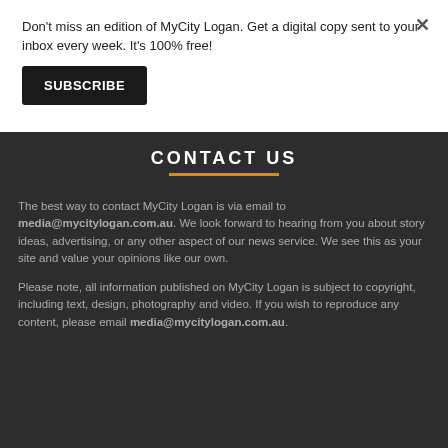Don't miss an edition of MyCity Logan. Get a digital copy sent to your inbox every week. It's 100% free!
Subscribe
CONTACT US
The best way to contact MyCity Logan is via email to media@mycitylogan.com.au. We look forward to hearing from you about story ideas, advertising, or any other aspect of our news service. We see this as your site and value your opinions like our own.
Please note, all information published on MyCity Logan is subject to copyright, including text, design, photography and video. If you wish to reproduce any content, please email media@mycitylogan.com.au.